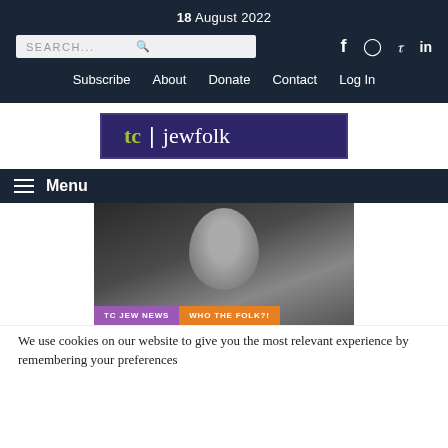18 August 2022
SEARCH...
Subscribe  About  Donate  Contact  Log In
[Figure (logo): TC Jewfolk logo — dark purple rectangle with green 'tc', white vertical bar, and white 'jewfolk' text]
Menu
[Figure (photo): Black and white portrait photo of a young man with dark hair, with category tags 'TC JEW NEWS' (purple) and 'WHO THE FOLK?!' (orange) overlaid at bottom left]
We use cookies on our website to give you the most relevant experience by remembering your preferences